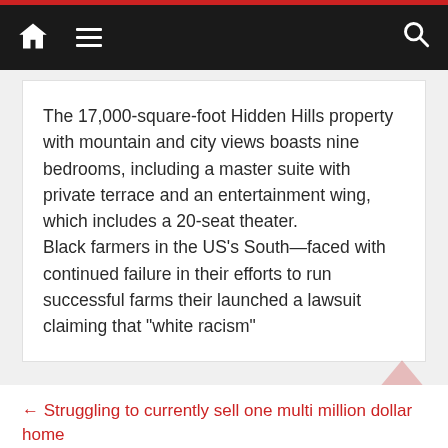Navigation bar with home, menu, and search icons
The 17,000-square-foot Hidden Hills property with mountain and city views boasts nine bedrooms, including a master suite with private terrace and an entertainment wing, which includes a 20-seat theater.
Black farmers in the US’s South—faced with continued failure in their efforts to run successful farms their launched a lawsuit claiming that “white racism”
← Struggling to currently sell one multi million dollar home